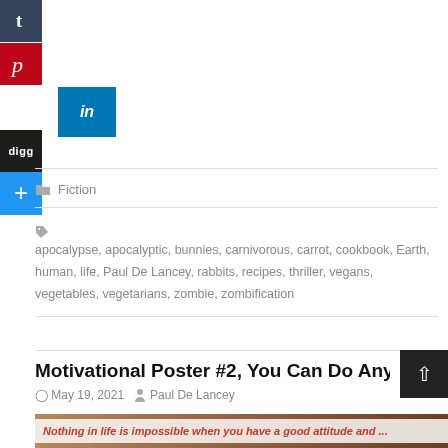[Figure (other): Social media share buttons: Tumblr (dark blue), Pinterest (red), LinkedIn (blue, offset right), Digg (black), and a blue plus/more button]
Fiction
apocalypse, apocalyptic, bunnies, carnivorous, carrot, cookbook, Earth, human, life, Paul De Lancey, rabbits, recipes, thriller, vegans, vegetables, vegetarians, zombie, zombification
Motivational Poster #2, You Can Do Anyth
May 19, 2021  Paul De Lancey
[Figure (photo): Preview strip of a motivational poster image with red italic text: Nothing in life is impossible when you have a good attitude and ...]